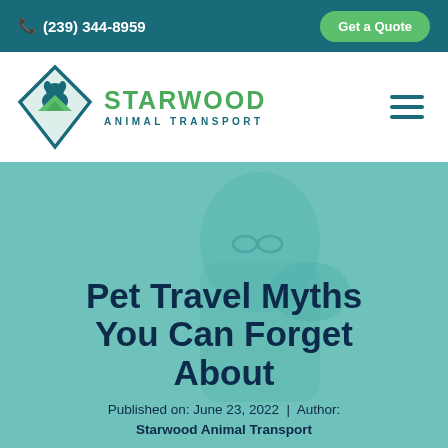📞 (239) 344-8959  |  Get a Quote
[Figure (logo): Starwood Animal Transport logo with diamond shape containing a dog silhouette and mountain/landscape, with green text STARWOOD and teal ANIMAL TRANSPORT]
[Figure (photo): Person with glasses holding or petting an animal, with teal/green color overlay]
Pet Travel Myths You Can Forget About
Published on: June 23, 2022  |  Author: Starwood Animal Transport